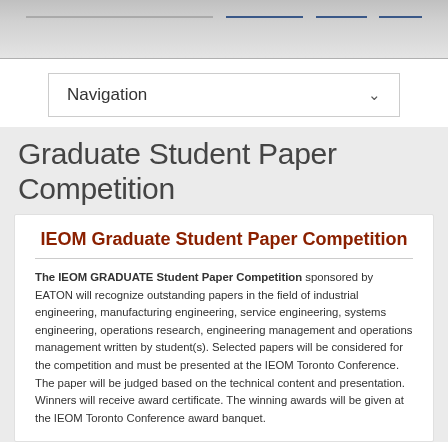Navigation
Graduate Student Paper Competition
IEOM Graduate Student Paper Competition
The IEOM GRADUATE Student Paper Competition sponsored by EATON will recognize outstanding papers in the field of industrial engineering, manufacturing engineering, service engineering, systems engineering, operations research, engineering management and operations management written by student(s). Selected papers will be considered for the competition and must be presented at the IEOM Toronto Conference. The paper will be judged based on the technical content and presentation. Winners will receive award certificate. The winning awards will be given at the IEOM Toronto Conference award banquet.